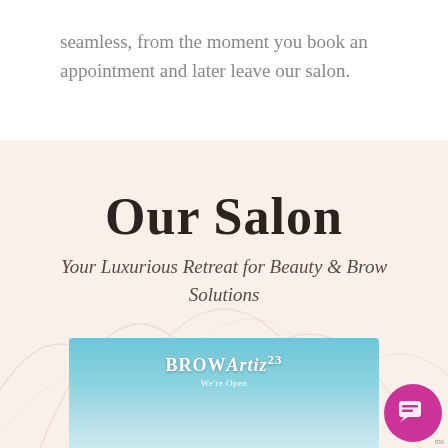seamless, from the moment you book an appointment and later leave our salon.
Our Salon
Your Luxurious Retreat for Beauty & Brow Solutions
[Figure (photo): Storefront photo of Brow Artiz23 salon with teal/aqua color scheme and 'We're Open' signage, plus a pink/magenta chat button overlay in the bottom right corner]